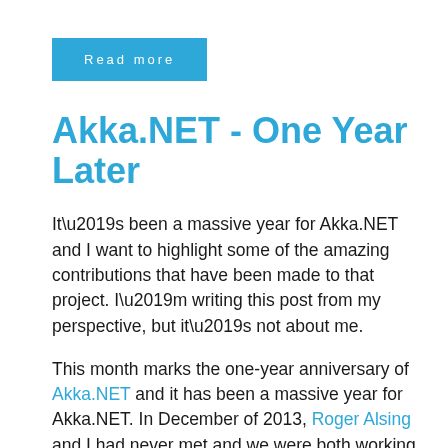Read more
Akka.NET - One Year Later
It’s been a massive year for Akka.NET and I want to highlight some of the amazing contributions that have been made to that project. I’m writing this post from my perspective, but it’s not about me.
This month marks the one-year anniversary of Akka.NET and it has been a massive year for Akka.NET. In December of 2013, Roger Alsing and I had never met and we were both working on our